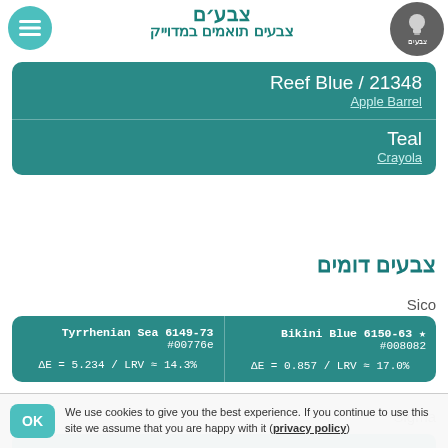צבעים
צבעים תואמים במדוייק
| Reef Blue / 21348 | Apple Barrel |
| Teal | Crayola |
צבעים דומים
Sico
| Tyrrhenian Sea 6149-73
#00776e
ΔE = 5.234 / LRV ≈ 14.3% | Bikini Blue 6150-63 ★
#008082
ΔE = 0.857 / LRV ≈ 17.0% |
Sigma
We use cookies to give you the best experience. If you continue to use this site we assume that you are happy with it (privacy policy)